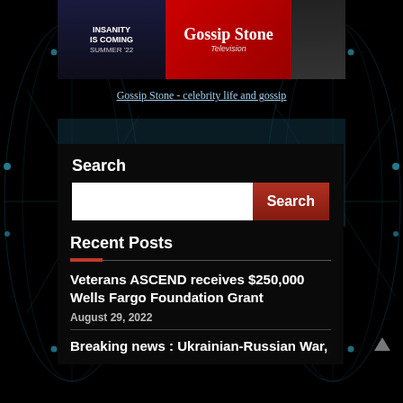[Figure (screenshot): Gossip Stone Television banner with dark blue left panel showing 'INSANITY IS COMING SUMMER 22' text, red center panel with 'Gossip Stone Television' logo, and dark right panel]
Gossip Stone - celebrity life and gossip
[Figure (infographic): Dark themed website section with network globe/lines SVG background in blue tones]
Search
Recent Posts
Veterans ASCEND receives $250,000 Wells Fargo Foundation Grant
August 29, 2022
Breaking news : Ukrainian-Russian War,